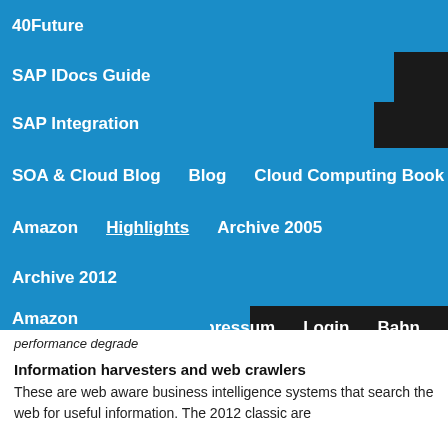40Future
SAP IDocs Guide
SAP Integration
SOA & Cloud Blog   Blog   Cloud Computing Book
Amazon   Highlights   Archive 2005
Archive 2012
Blue Elefant Logo   Impressum   Login   Bahn
Amazon
performance degrade
Information harvesters and web crawlers
These are web aware business intelligence systems that search the web for useful information. The 2012 classic are